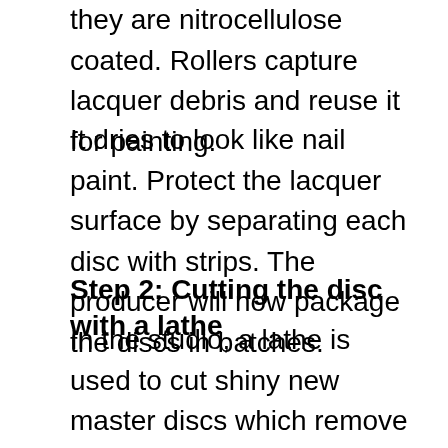they are nitrocellulose coated. Rollers capture lacquer debris and reuse it for painting.
It dries to look like nail paint. Protect the lacquer surface by separating each disc with strips. The producer will now package the discs in batches.
Step 2: Cutting the disc with a lathe
In the studio, a lathe is used to cut shiny new master discs which remove the blank disc's protective strips with care using a teeny, tiny needle. The disc is then split into segments. The engineer secures the disc by placing a vacuum line into its center. This will be followed by moving the disc's outside edge and using a